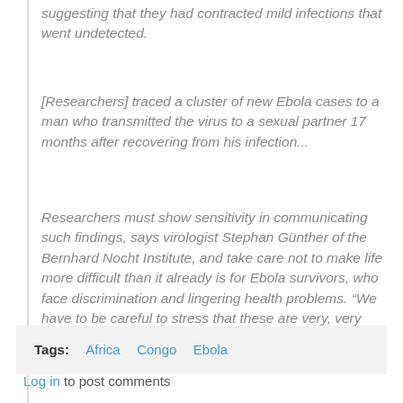suggesting that they had contracted mild infections that went undetected.
[Researchers] traced a cluster of new Ebola cases to a man who transmitted the virus to a sexual partner 17 months after recovering from his infection...
Researchers must show sensitivity in communicating such findings, says virologist Stephan Günther of the Bernhard Nocht Institute, and take care not to make life more difficult than it already is for Ebola survivors, who face discrimination and lingering health problems. “We have to be careful to stress that these are very, very rare events.”
Tags: Africa  Congo  Ebola
Log in to post comments